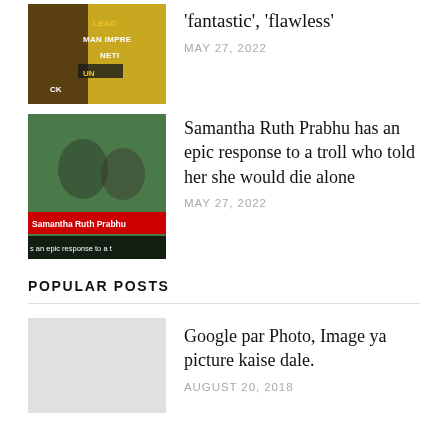[Figure (photo): Thumbnail image with yellow background showing text overlay 'LEAD MAN IMPRE NETI' in bold uppercase on dark overlay]
‘fantastic’, ‘flawless’
MAY 27, 2022
[Figure (photo): Thumbnail image with green background showing two people; red label bar reading 'Samantha Ruth Prabhu' and dark bar reading 'as an epic response to a t']
Samantha Ruth Prabhu has an epic response to a troll who told her she would die alone
MAY 27, 2022
POPULAR POSTS
[Figure (photo): Blank/grey thumbnail placeholder for popular post]
Google par Photo, Image ya picture kaise dale.
AUGUST 20, 2018